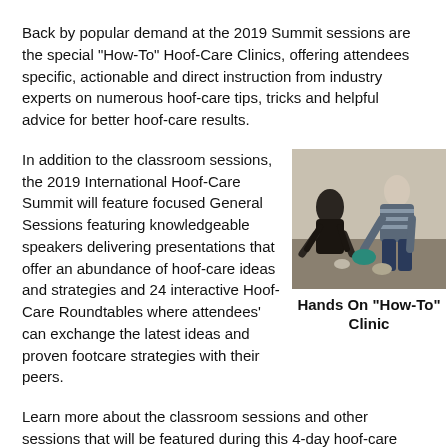Back by popular demand at the 2019 Summit sessions are the special "How-To" Hoof-Care Clinics, offering attendees specific, actionable and direct instruction from industry experts on numerous hoof-care tips, tricks and helpful advice for better hoof-care results.
In addition to the classroom sessions, the 2019 International Hoof-Care Summit will feature focused General Sessions featuring knowledgeable speakers delivering presentations that offer an abundance of hoof-care ideas and strategies and 24 interactive Hoof-Care Roundtables where attendees' can exchange the latest ideas and proven footcare strategies with their peers.
[Figure (photo): Two people bent over working on something on the floor in what appears to be a clinic or workshop setting.]
Hands On "How-To" Clinic
Learn more about the classroom sessions and other sessions that will be featured during this 4-day hoof-care focused Summit here.
A discounted registration rate of $394 is available through Jan. 2